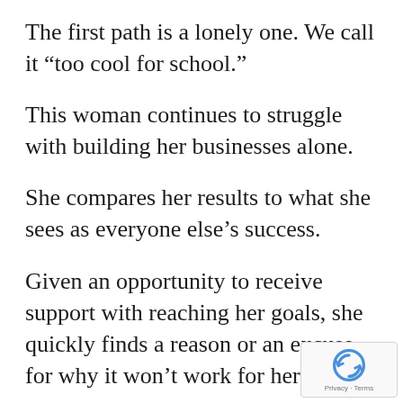The first path is a lonely one. We call it “too cool for school.”
This woman continues to struggle with building her businesses alone.
She compares her results to what she sees as everyone else’s success.
Given an opportunity to receive support with reaching her goals, she quickly finds a reason or an excuse for why it won’t work for her.
[Figure (logo): reCAPTCHA badge with circular arrow icon and Privacy · Terms text]